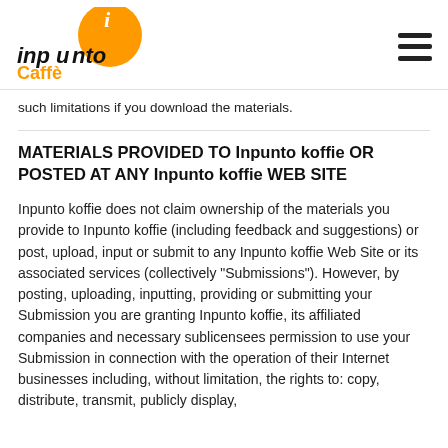Inpunto Caffè logo and navigation menu
such limitations if you download the materials.
MATERIALS PROVIDED TO Inpunto koffie OR POSTED AT ANY Inpunto koffie WEB SITE
Inpunto koffie does not claim ownership of the materials you provide to Inpunto koffie (including feedback and suggestions) or post, upload, input or submit to any Inpunto koffie Web Site or its associated services (collectively "Submissions"). However, by posting, uploading, inputting, providing or submitting your Submission you are granting Inpunto koffie, its affiliated companies and necessary sublicensees permission to use your Submission in connection with the operation of their Internet businesses including, without limitation, the rights to: copy, distribute, transmit, publicly display,